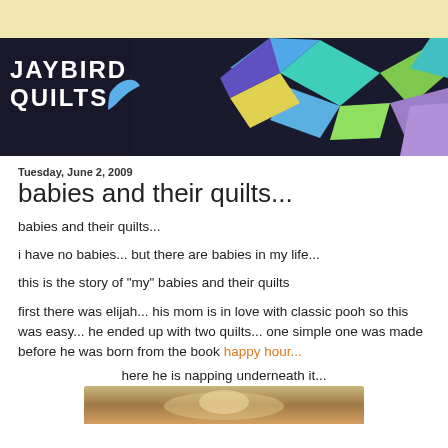[Figure (photo): Jaybird Quilts banner with logo on left and colorful geometric quilt pattern on right against dark background]
Tuesday, June 2, 2009
babies and their quilts...
babies and their quilts...
i have no babies... but there are babies in my life...
this is the story of "my" babies and their quilts
first there was elijah... his mom is in love with classic pooh so this was easy... he ended up with two quilts... one simple one was made before he was born from the book happy hour...
here he is napping underneath it...
[Figure (photo): Baby napping underneath a quilt]